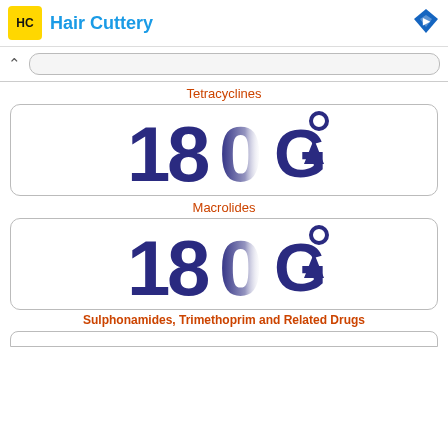Hair Cuttery
Tetracyclines
[Figure (logo): 180G logo with dark navy blue stylized numerals and letter G with circular arrow, for Macrolides category]
Macrolides
[Figure (logo): 180G logo with dark navy blue stylized numerals and letter G with circular arrow, for Sulphonamides category]
Sulphonamides, Trimethoprim and Related Drugs